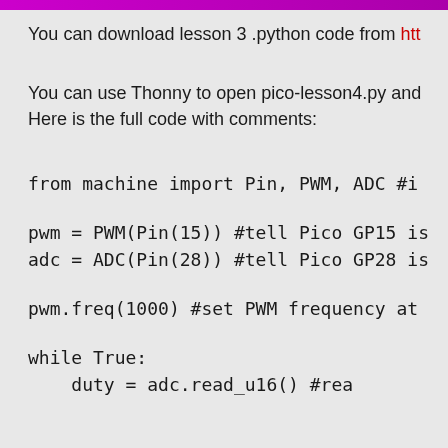You can download lesson 3 .python code from htt
You can use Thonny to open pico-lesson4.py and Here is the full code with comments:
from machine import Pin, PWM, ADC #i

pwm = PWM(Pin(15)) #tell Pico GP15 is
adc = ADC(Pin(28)) #tell Pico GP28 is

pwm.freq(1000) #set PWM frequency at

while True:
    duty = adc.read_u16() #rea